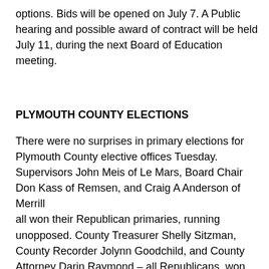options. Bids will be opened on July 7. A Public hearing and possible award of contract will be held July 11, during the next Board of Education meeting.
PLYMOUTH COUNTY ELECTIONS
There were no surprises in primary elections for Plymouth County elective offices Tuesday.
Supervisors John Meis of Le Mars, Board Chair Don Kass of Remsen, and Craig A Anderson of Merrill
all won their Republican primaries, running unopposed. County Treasurer Shelly Sitzman, County Recorder Jolynn Goodchild, and County Attorney Darin Raymond – all Republicans, won their primaries unopposed. No Democrats ran in the Plymouth County primary elections.